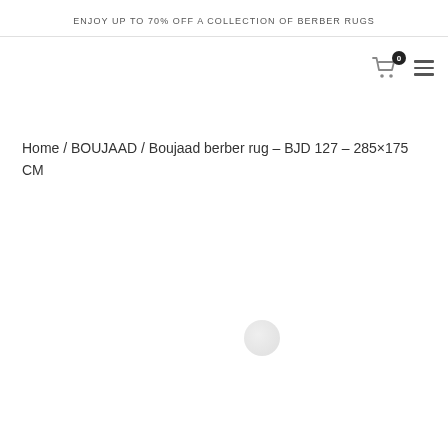ENJOY UP TO 70% OFF A COLLECTION OF BERBER RUGS
[Figure (screenshot): Shopping cart icon with badge showing 0 items and hamburger menu icon]
Home / BOUJAAD / Boujaad berber rug – BJD 127 – 285×175 CM